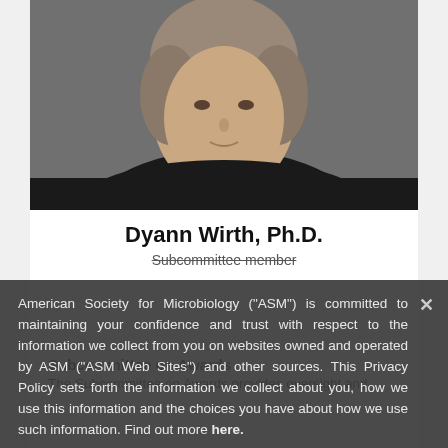[Figure (photo): Headshot photo of Dyann Wirth, Ph.D. — a woman wearing a dark jacket and gold necklace, photographed against a neutral background. The upper portion shows her head and shoulders.]
Dyann Wirth, Ph.D.
Subcommittee member
American Society for Microbiology ("ASM") is committed to maintaining your confidence and trust with respect to the information we collect from you on websites owned and operated by ASM ("ASM Web Sites") and other sources. This Privacy Policy sets forth the information we collect about you, how we use this information and the choices you have about how we use such information. Find out more here.
Subcommittee on Awards
The Subcommittee on Awards provides oversight and